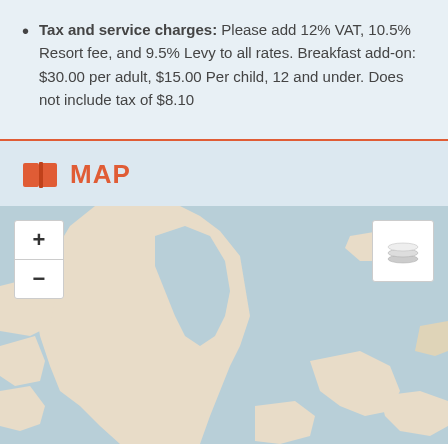Tax and service charges: Please add 12% VAT, 10.5% Resort fee, and 9.5% Levy to all rates. Breakfast add-on: $30.00 per adult, $15.00 Per child, 12 and under. Does not include tax of $8.10
MAP
[Figure (map): Interactive map showing a coastal/island area with land masses (beige/cream colored) surrounded by light blue water. Map controls visible: zoom in/out buttons on top-left, layer switcher button on top-right.]